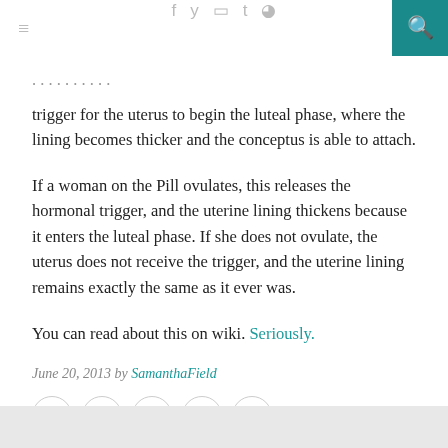≡  f y ▣ t ⌂  🔍
trigger for the uterus to begin the luteal phase, where the lining becomes thicker and the conceptus is able to attach.
If a woman on the Pill ovulates, this releases the hormonal trigger, and the uterine lining thickens because it enters the luteal phase. If she does not ovulate, the uterus does not receive the trigger, and the uterine lining remains exactly the same as it ever was.
You can read about this on wiki. Seriously.
June 20, 2013 by SamanthaField